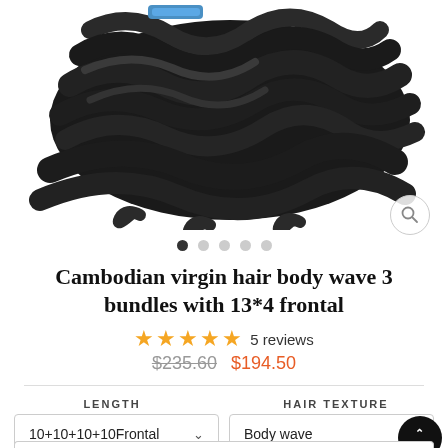[Figure (photo): Black wavy hair bundles product photo on white background]
Cambodian virgin hair body wave 3 bundles with 13*4 frontal
★★★★★ 5 reviews
$235.60  $194.50
LENGTH   HAIR TEXTURE
10+10+10+10Frontal   Body wave